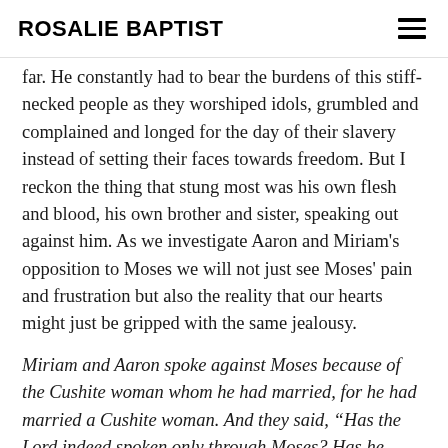ROSALIE BAPTIST
far.  He constantly had to bear the burdens of this stiff-necked people as they worshiped idols, grumbled and complained and longed for the day of their slavery instead of setting their faces towards freedom.  But I reckon the thing that stung most was his own flesh and blood, his own brother and sister, speaking out against him.  As we investigate Aaron and Miriam's opposition to Moses we will not just see Moses' pain and frustration but also the reality that our hearts might just be gripped with the same jealousy.
Miriam and Aaron spoke against Moses because of the Cushite woman whom he had married, for he had married a Cushite woman. And they said, “Has the Lord indeed spoken only through Moses? Has he